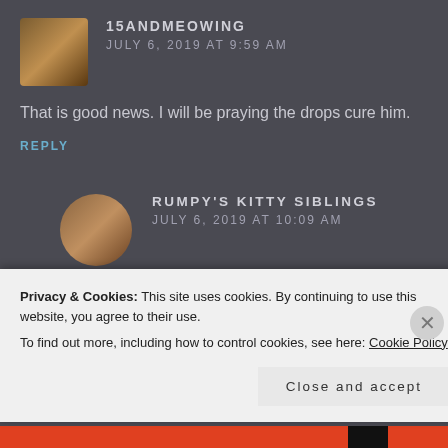[Figure (photo): Avatar image of a cat with decorative icon for user 15andmeowing]
15ANDMEOWING
JULY 6, 2019 AT 9:59 AM
That is good news. I will be praying the drops cure him.
REPLY
[Figure (photo): Round avatar photo of a person with curly hair for user Rumpy's Kitty Siblings]
RUMPY'S KITTY SIBLINGS
JULY 6, 2019 AT 10:09 AM
Thank you!!!
REPLY
Privacy & Cookies: This site uses cookies. By continuing to use this website, you agree to their use.
To find out more, including how to control cookies, see here: Cookie Policy
Close and accept